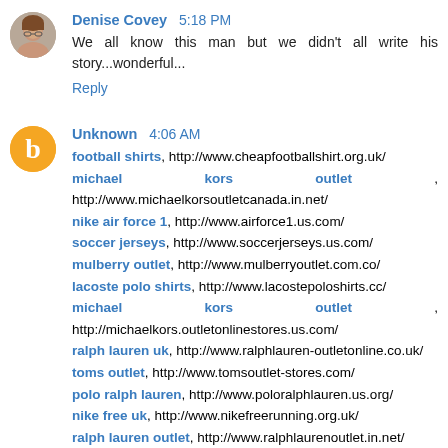Denise Covey  5:18 PM
We all know this man but we didn't all write his story...wonderful...
Reply
Unknown  4:06 AM
football shirts, http://www.cheapfootballshirt.org.uk/
michael kors outlet, http://www.michaelkorsoutletcanada.in.net/
nike air force 1, http://www.airforce1.us.com/
soccer jerseys, http://www.soccerjerseys.us.com/
mulberry outlet, http://www.mulberryoutlet.com.co/
lacoste polo shirts, http://www.lacostepoloshirts.cc/
michael kors outlet, http://michaelkors.outletonlinestores.us.com/
ralph lauren uk, http://www.ralphlauren-outletonline.co.uk/
toms outlet, http://www.tomsoutlet-stores.com/
polo ralph lauren, http://www.poloralphlauren.us.org/
nike free uk, http://www.nikefreerunning.org.uk/
ralph lauren outlet, http://www.ralphlaurenoutlet.in.net/